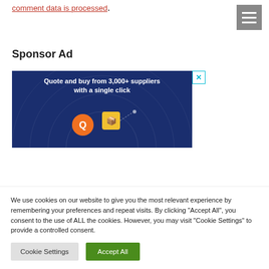comment data is processed.
[Figure (screenshot): Hamburger menu button (three white lines on grey background)]
Sponsor Ad
[Figure (infographic): Blue advertisement banner: 'Quote and buy from 3,000+ suppliers with a single click' with icons of a letter Q in orange circle and a yellow box character. Close button with X in top right corner.]
We use cookies on our website to give you the most relevant experience by remembering your preferences and repeat visits. By clicking “Accept All”, you consent to the use of ALL the cookies. However, you may visit "Cookie Settings" to provide a controlled consent.
Cookie Settings
Accept All